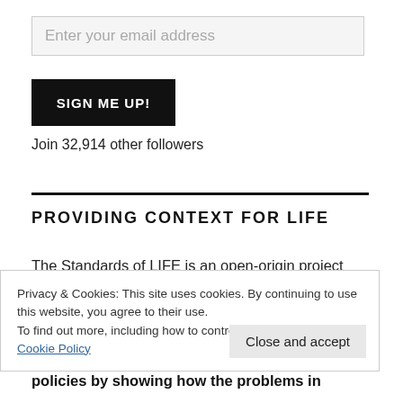Enter your email address
SIGN ME UP!
Join 32,914 other followers
PROVIDING CONTEXT FOR LIFE
The Standards of LIFE is an open-origin project
Privacy & Cookies: This site uses cookies. By continuing to use this website, you agree to their use.
To find out more, including how to control cookies, see here:
Cookie Policy
Close and accept
policies by showing how the problems in